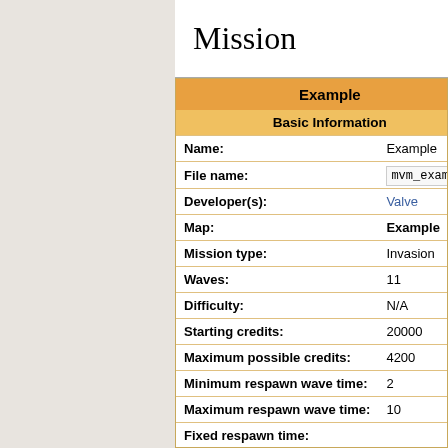Mission
| Field | Value |
| --- | --- |
| Name: | Example |
| File name: | mvm_example |
| Developer(s): | Valve |
| Map: | Example |
| Mission type: | Invasion |
| Waves: | 11 |
| Difficulty: | N/A |
| Starting credits: | 20000 |
| Maximum possible credits: | 4200 |
| Minimum respawn wave time: | 2 |
| Maximum respawn wave time: | 10 |
| Fixed respawn time: |  |
| Tour: | N/A |
| Custom Boot camp options: |  |